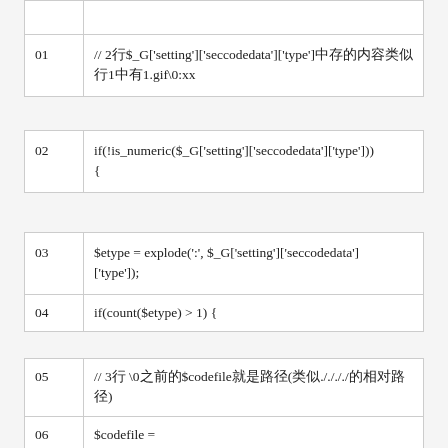| line | code |
| --- | --- |
| 01 | // 2行$_G['setting']['seccodedata']['type']中存的内容类似
行1中有1.gif\0:xx |
| line | code |
| --- | --- |
| 02 | if(!is_numeric($_G['setting']['seccodedata']['type']))
{ |
| line | code |
| --- | --- |
| 03 | $etype = explode(':', $_G['setting']['seccodedata']['type']); |
| 04 | if(count($etype) > 1) { |
| line | code |
| --- | --- |
| 05 | // 3行 \0之前的$codefile就是路径(类似./././的相对路径) |
| 06 | $codefile =
DISCUZ_ROOT.'./source/plugin/'.$etype[0].'./seccode |